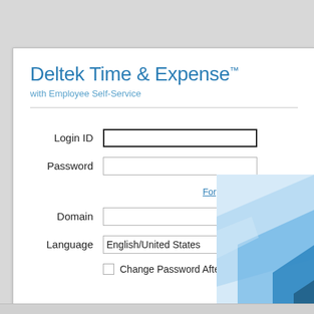Deltek Time & Expense™
with Employee Self-Service
Login ID
Password
Forgot/Reset Password
Domain
Language  English/United States
Change Password After Login
[Figure (illustration): Blue geometric decorative graphic in bottom-right corner of the login card]